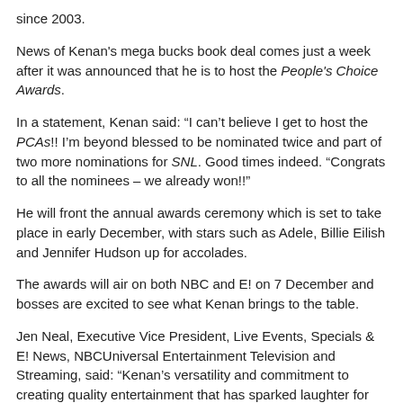since 2003.
News of Kenan's mega bucks book deal comes just a week after it was announced that he is to host the People's Choice Awards.
In a statement, Kenan said: “I can’t believe I get to host the PCAs!! I’m beyond blessed to be nominated twice and part of two more nominations for SNL. Good times indeed. “Congrats to all the nominees – we already won!!”
He will front the annual awards ceremony which is set to take place in early December, with stars such as Adele, Billie Eilish and Jennifer Hudson up for accolades.
The awards will air on both NBC and E! on 7 December and bosses are excited to see what Kenan brings to the table.
Jen Neal, Executive Vice President, Live Events, Specials & E! News, NBCUniversal Entertainment Television and Streaming, said: “Kenan’s versatility and commitment to creating quality entertainment that has sparked laughter for